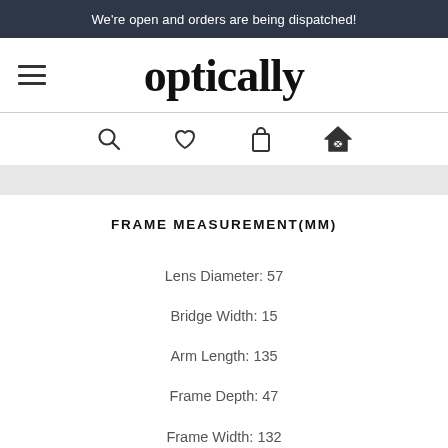We're open and orders are being dispatched!
[Figure (logo): Optically brand logo with hamburger menu icon on the left]
[Figure (infographic): Navigation icons: search magnifier, heart/wishlist, shopping bag, house with glasses]
FRAME MEASUREMENT(MM)
Lens Diameter: 57
Bridge Width: 15
Arm Length: 135
Frame Depth: 47
Frame Width: 132
COMPATIBLE LENSES